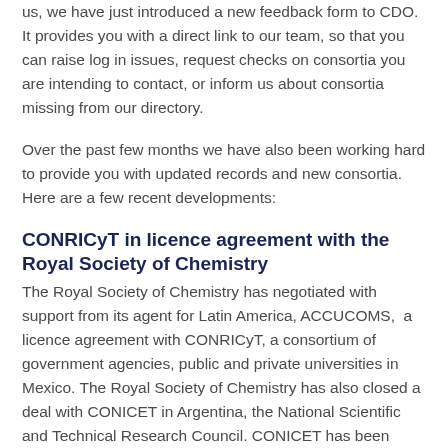us, we have just introduced a new feedback form to CDO. It provides you with a direct link to our team, so that you can raise log in issues, request checks on consortia you are intending to contact, or inform us about consortia missing from our directory.
Over the past few months we have also been working hard to provide you with updated records and new consortia. Here are a few recent developments:
CONRICyT in licence agreement with the Royal Society of Chemistry
The Royal Society of Chemistry has negotiated with support from its agent for Latin America, ACCUCOMS,  a licence agreement with CONRICyT, a consortium of government agencies, public and private universities in Mexico. The Royal Society of Chemistry has also closed a deal with CONICET in Argentina, the National Scientific and Technical Research Council. CONICET has been acquiring resources predominantly via BECYT, Argentina's lead consortium.  In the wake of the deal with the RSC we are currently investigating the licensing